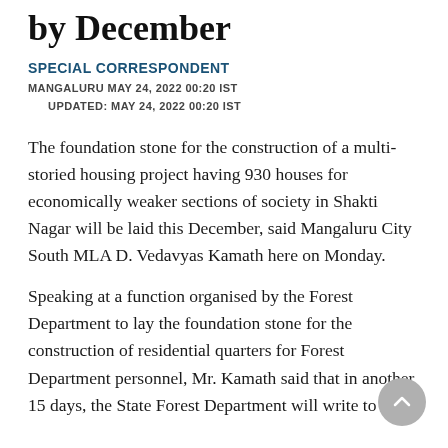by December
SPECIAL CORRESPONDENT
MANGALURU MAY 24, 2022 00:20 IST
        UPDATED: MAY 24, 2022 00:20 IST
The foundation stone for the construction of a multi-storied housing project having 930 houses for economically weaker sections of society in Shakti Nagar will be laid this December, said Mangaluru City South MLA D. Vedavyas Kamath here on Monday.
Speaking at a function organised by the Forest Department to lay the foundation stone for the construction of residential quarters for Forest Department personnel, Mr. Kamath said that in another 15 days, the State Forest Department will write to the